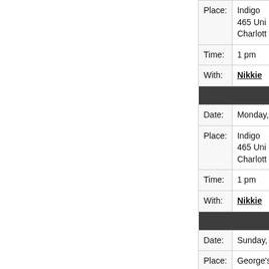| Field | Value |
| --- | --- |
| Place: | Indigo
465 Uni
Charlottes |
| Time: | 1 pm |
| With: | Nikkie |
| [header] |  |
| Date: | Monday, |
| Place: | Indigo
465 Uni
Charlott |
| Time: | 1 pm |
| With: | Nikkie |
| [header] |  |
| Date: | Sunday, |
| Place: | George's
Sackville |
| With: | Nikkie |
| [header] |  |
| Date: | Saturday |